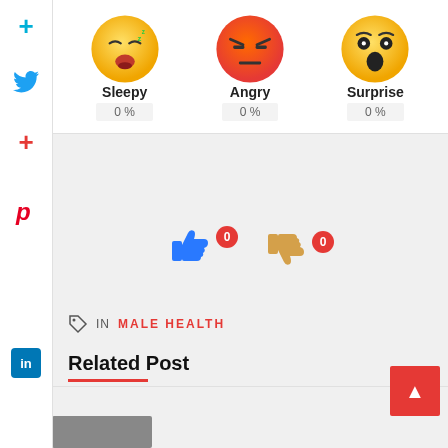[Figure (infographic): Three emoji reaction faces with labels and percentages: Sleepy (0%), Angry (0%), Surprise (0%)]
[Figure (infographic): Thumbs up and thumbs down icons each with a red badge showing 0]
IN MALE HEALTH
Related Post